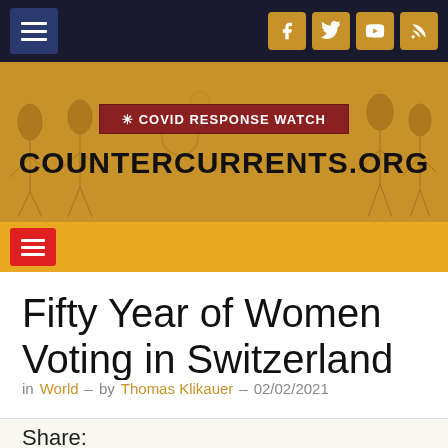[Figure (screenshot): Top navigation bar with dark blue background, hamburger menu on left and social media icons (Facebook, Twitter, YouTube, RSS) on right in gold buttons]
[Figure (screenshot): CounterCurrents.org website banner with gold/orange background, protest figures in background, COVID Response Watch badge, and COUNTERCURRENTS.ORG site title]
[Figure (screenshot): Yellow navigation bar with red hamburger menu button]
Fifty Year of Women Voting in Switzerland
in World – by Thomas Klikauer – 02/02/2021
Share: